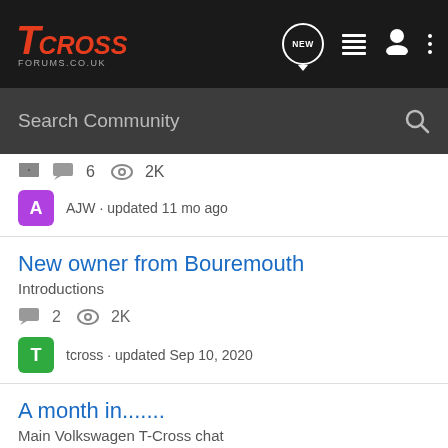TCROSS FORUMS.CO.UK
Search Community
6  2K
AJW · updated 11 mo ago
New owner from Bouremouth
Introductions
2  2K
tcross · updated Sep 10, 2020
A month in.......
Main Volkswagen T-Cross chat
8  3K
spc369 · updated Nov 19, 2019